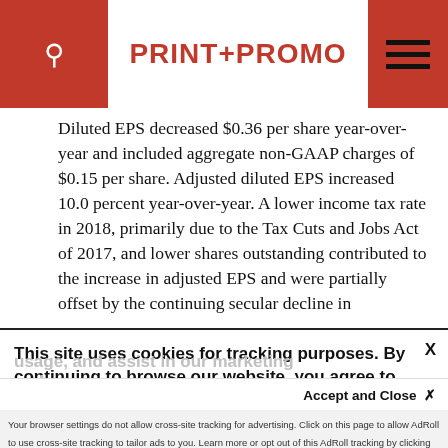PRINT+PROMO
Diluted EPS decreased $0.36 per share year-over-year and included aggregate non-GAAP charges of $0.15 per share. Adjusted diluted EPS increased 10.0 percent year-over-year. A lower income tax rate in 2018, primarily due to the Tax Cuts and Jobs Act of 2017, and lower shares outstanding contributed to the increase in adjusted EPS and were partially offset by the continuing secular decline in
This site uses cookies for tracking purposes. By continuing to browse our website, you agree to the storing of first- and third-party cookies on your device to enhance site navigation, analyze site
usage, and assist in our marketing and
Accept and Close ✕
Your browser settings do not allow cross-site tracking for advertising. Click on this page to allow AdRoll to use cross-site tracking to tailor ads to you. Learn more or opt out of this AdRoll tracking by clicking here. This message only appears once.